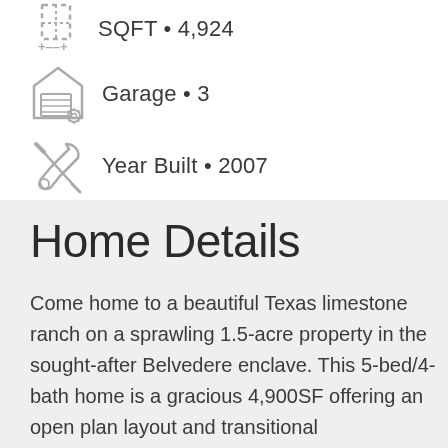SQFT • 4,924
Garage • 3
Year Built • 2007
Home Details
Come home to a beautiful Texas limestone ranch on a sprawling 1.5-acre property in the sought-after Belvedere enclave. This 5-bed/4-bath home is a gracious 4,900SF offering an open plan layout and transitional